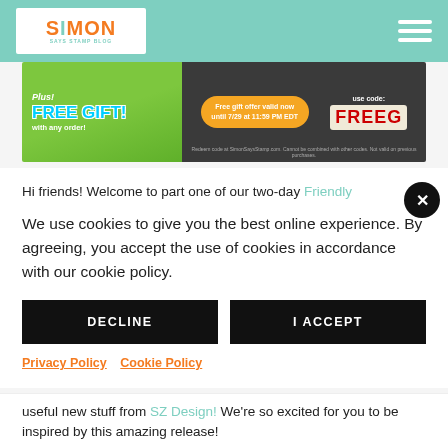Simon Says Stamp Blog
[Figure (infographic): Promotional banner: Plus! FREE GIFT! with any order! Free gift offer valid now until 7/29 at 11:59 PM EDT. use code: FREEG]
Hi friends! Welcome to part one of our two-day Friendly
We use cookies to give you the best online experience. By agreeing, you accept the use of cookies in accordance with our cookie policy.
DECLINE
I ACCEPT
Privacy Policy   Cookie Policy
useful new stuff from SZ Design! We're so excited for you to be inspired by this amazing release!